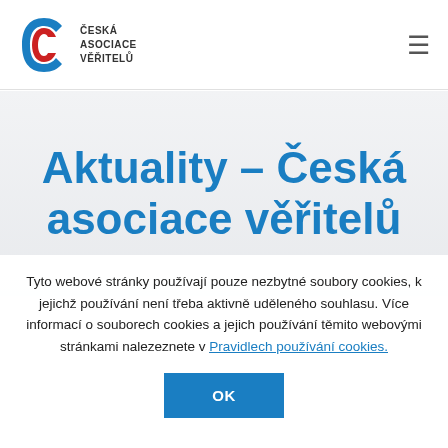[Figure (logo): Česká asociace věřitelů logo — stylized blue and red S/C letter mark with text 'ČESKÁ ASOCIACE VĚŘITELŮ' to the right]
Aktuality – Česká asociace věřitelů
Tyto webové stránky používají pouze nezbytné soubory cookies, k jejichž používání není třeba aktivně uděleného souhlasu. Více informací o souborech cookies a jejich používání těmito webovými stránkami nalezeznete v Pravidlech používání cookies.
OK